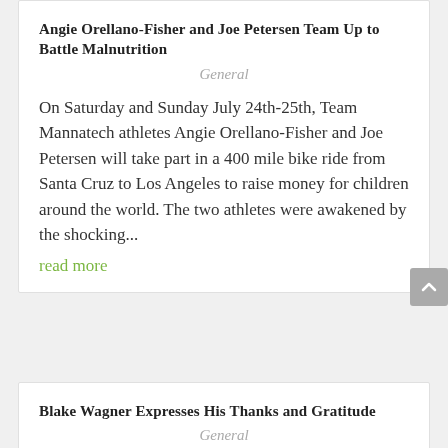Angie Orellano-Fisher and Joe Petersen Team Up to Battle Malnutrition
General
On Saturday and Sunday July 24th-25th, Team Mannatech athletes Angie Orellano-Fisher and Joe Petersen will take part in a 400 mile bike ride from Santa Cruz to Los Angeles to raise money for children around the world. The two athletes were awakened by the shocking... read more
Blake Wagner Expresses His Thanks and Gratitude
General